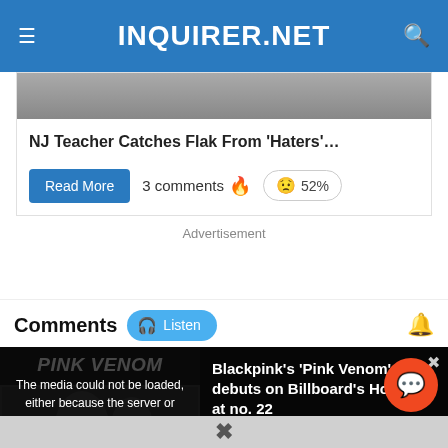INQUIRER.NET
[Figure (photo): Partial photo of an NJ teacher article thumbnail]
NJ Teacher Catches Flak From 'Haters'…
Read More   3 comments 🔥   😟 52%
Advertisement
Comments
The media could not be loaded, either because the server or network failed or because the format is not supported.
Blackpink's 'Pink Venom' debuts on Billboard's Hot 100 at no. 22